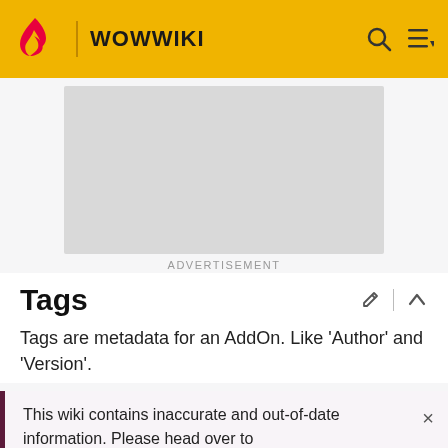WOWWIKI
[Figure (other): Advertisement placeholder gray rectangle]
ADVERTISEMENT
Tags
Tags are metadata for an AddOn. Like 'Author' and 'Version'.
This wiki contains inaccurate and out-of-date information. Please head over to https://wowpedia.fandom.com for more accurate and up-to-date game information.